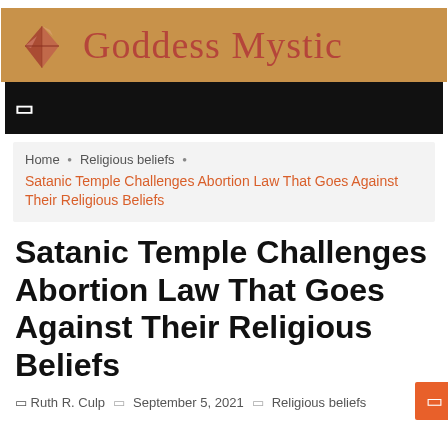Goddess Mystic
[Figure (logo): Goddess Mystic website logo with crystal/gem icon and site name in serif font on tan/brown background]
navigation bar (black bar with menu icon)
Home > Religious beliefs > Satanic Temple Challenges Abortion Law That Goes Against Their Religious Beliefs
Satanic Temple Challenges Abortion Law That Goes Against Their Religious Beliefs
Ruth R. Culp  September 5, 2021  Religious beliefs